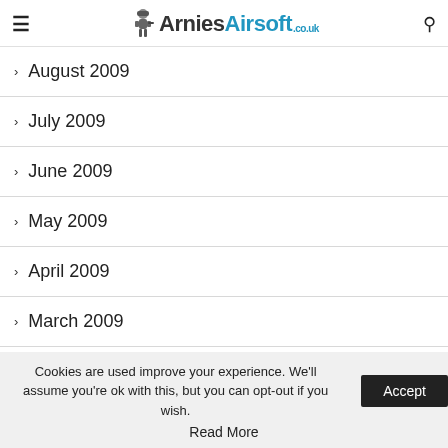ArniesAirsoft.co.uk
August 2009
July 2009
June 2009
May 2009
April 2009
March 2009
February 2009
Cookies are used improve your experience. We'll assume you're ok with this, but you can opt-out if you wish. Accept
Read More